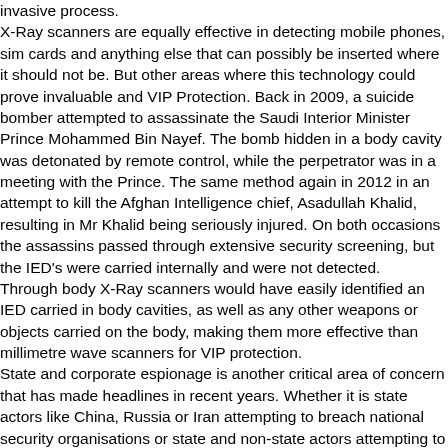invasive process. X-Ray scanners are equally effective in detecting mobile phones, sim cards and anything else that can possibly be inserted where it should not be. But other areas where this technology could prove invaluable and VIP Protection. Back in 2009, a suicide bomber attempted to assassinate the Saudi Interior Minister Prince Mohammed Bin Nayef. The bomb hidden in a body cavity was detonated by remote control, while the perpetrator was in a meeting with the Prince. The same method again in 2012 in an attempt to kill the Afghan Intelligence chief, Asadullah Khalid, resulting in Mr Khalid being seriously injured. On both occasions the assassins passed through extensive security screening, but the IED's were carried internally and were not detected. Through body X-Ray scanners would have easily identified an IED carried in body cavities, as well as any other weapons or objects carried on the body, making them more effective than millimetre wave scanners for VIP protection. State and corporate espionage is another critical area of concern that has made headlines in recent years. Whether it is state actors like China, Russia or Iran attempting to breach national security organisations or state and non-state actors attempting to steal commercial information or intellectual property. Recent focus has been on cyber vulnerabilities, and many organisations have created an air gap between their critical data and the internet as probably the best proof way to protect their secrets from cyber hackers. But insider threat remains a concern for national security secrets and intellectual property for western